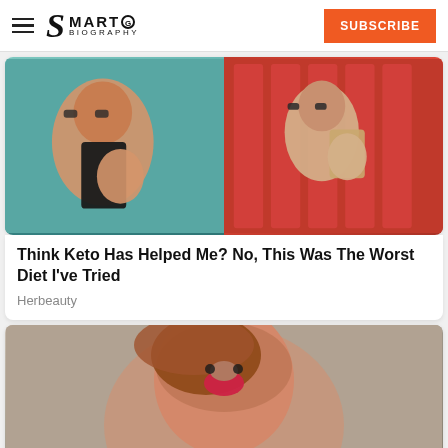Smart Biography | SUBSCRIBE
[Figure (photo): Before and after weight loss photos: left shows shirtless person with glasses taking mirror selfie with black phone in teal bathroom; right shows same or similar person thinner taking mirror selfie with gold phone in front of red lockers]
Think Keto Has Helped Me? No, This Was The Worst Diet I've Tried
Herbeauty
[Figure (photo): Portrait of a plus-size woman with auburn/red hair styled in an updo, wearing dramatic makeup with red lips and smoky eyes, dressed in what appears to a light-colored top, photographed against a grey textured background]